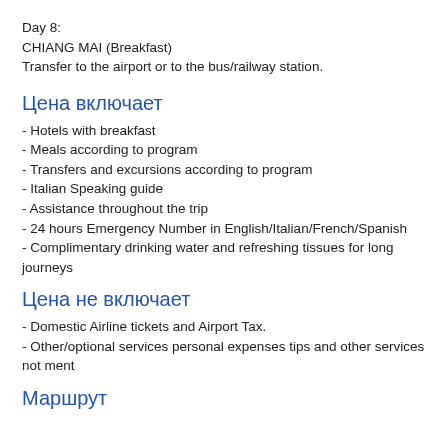Day 8:
CHIANG MAI (Breakfast)
Transfer to the airport or to the bus/railway station.
Цена включает
- Hotels with breakfast
- Meals according to program
- Transfers and excursions according to program
- Italian Speaking guide
- Assistance throughout the trip
- 24 hours Emergency Number in English/Italian/French/Spanish
- Complimentary drinking water and refreshing tissues for long journeys
Цена не включает
- Domestic Airline tickets and Airport Tax.
- Other/optional services personal expenses tips and other services not ment
Маршрут